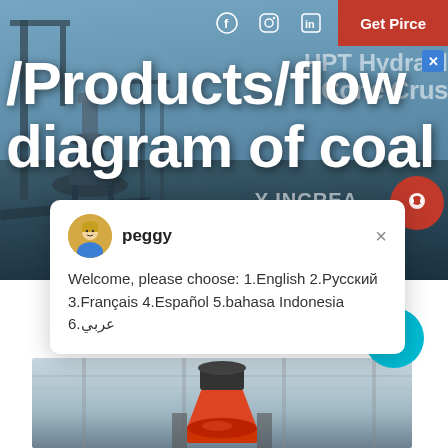[Figure (screenshot): Industrial mining/crushing equipment website screenshot with hero banner showing cone crusher machinery]
/Products/flow diagram of coal
peggy
Welcome, please choose: 1.English  2.Русский  3.Français  4.Español  5.bahasa Indonesia  6.عربي
[Figure (photo): Industrial cone crusher equipment inside a factory/warehouse setting]